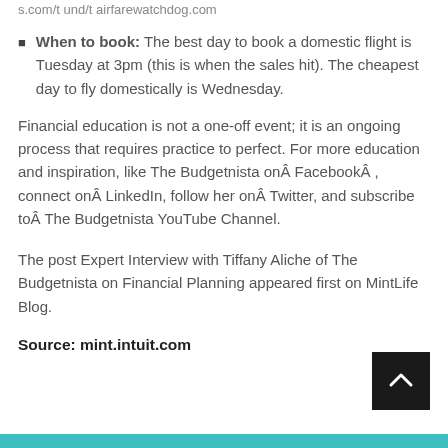s.com/t und/t airfarewatchdog.com
When to book: The best day to book a domestic flight is Tuesday at 3pm (this is when the sales hit). The cheapest day to fly domestically is Wednesday.
Financial education is not a one-off event; it is an ongoing process that requires practice to perfect. For more education and inspiration, like The Budgetnista onÂ FacebookÂ , connect onÂ LinkedIn, follow her onÂ Twitter, and subscribe toÂ The Budgetnista YouTube Channel.
The post Expert Interview with Tiffany Aliche of The Budgetnista on Financial Planning appeared first on MintLife Blog.
Source: mint.intuit.com